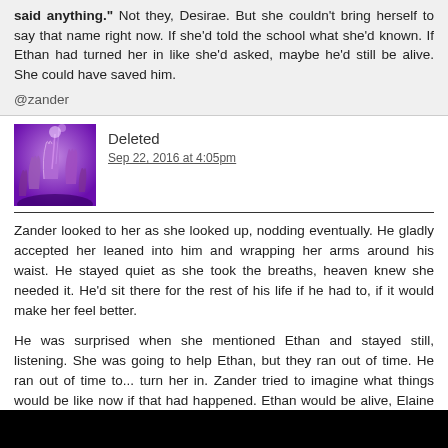said anything." Not they, Desirae. But she couldn't bring herself to say that name right now. If she'd told the school what she'd known. If Ethan had turned her in like she'd asked, maybe he'd still be alive. She could have saved him.
@zander
Deleted
Sep 22, 2016 at 4:05pm
Zander looked to her as she looked up, nodding eventually. He gladly accepted her leaned into him and wrapping her arms around his waist. He stayed quiet as she took the breaths, heaven knew she needed it. He'd sit there for the rest of his life if he had to, if it would make her feel better.
He was surprised when she mentioned Ethan and stayed still, listening. She was going to help Ethan, but they ran out of time. He ran out of time to... turn her in. Zander tried to imagine what things would be like now if that had happened. Ethan would be alive, Elaine might even be imprisoned... and Bay wouldn't have to pretend to be dead, would she? But something was overcoming all those feelings of regret and sadness. A strange pride swelled in his chest at her explanation of his involvement... that she had not said anything in order to protect him from them. He could guess who they meant, but he wasn't planning to say that out loud. He